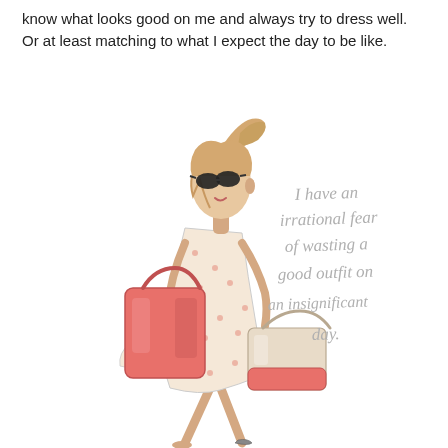know what looks good on me and always try to dress well. Or at least matching to what I expect the day to be like.
[Figure (illustration): Fashion illustration of a stylish blonde woman with sunglasses and a high ponytail, wearing a flowy polka-dot dress and carrying two bags — a large red/coral tote over her shoulder and a beige/coral handbag in her hand. She is walking confidently. Beside her, in cursive gray handwriting text: 'I have an irrational fear of wasting a good outfit on an insignificant day.']